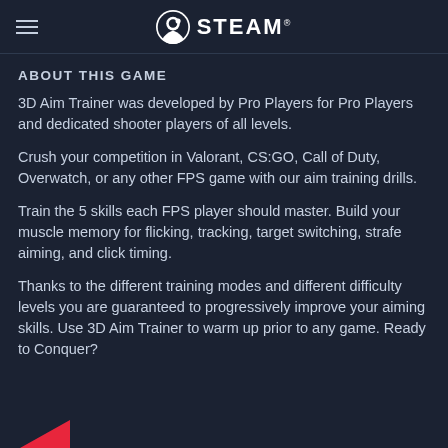STEAM
ABOUT THIS GAME
3D Aim Trainer was developed by Pro Players for Pro Players and dedicated shooter players of all levels.
Crush your competition in Valorant, CS:GO, Call of Duty, Overwatch, or any other FPS game with our aim training drills.
Train the 5 skills each FPS player should master. Build your muscle memory for flicking, tracking, target switching, strafe aiming, and click timing.
Thanks to the different training modes and different difficulty levels you are guaranteed to progressively improve your aiming skills. Use 3D Aim Trainer to warm up prior to any game. Ready to Conquer?
[Figure (illustration): Partial red arrow/logo at the bottom left corner]